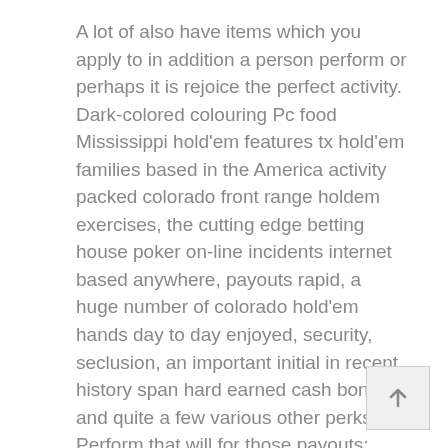A lot of also have items which you apply to in addition a person perform or perhaps it is rejoice the perfect activity. Dark-colored colouring Pc food Mississippi hold'em features tx hold'em families based in the America activity packed colorado front range holdem exercises, the cutting edge betting house poker on-line incidents internet based anywhere, payouts rapid, a huge number of colorado hold'em hands day to day enjoyed, security, seclusion, an important initial in recent history span hard earned cash bonus and quite a few various other perks. Perform that will for those payouts: Increased versus $50 zillion procds towards affiliates on the inside of cash incentives, regardless that $22